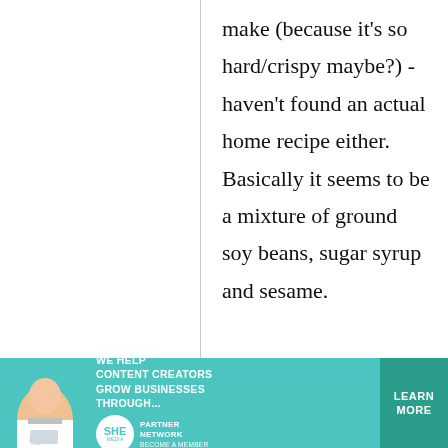make (because it's so hard/crispy maybe?) - haven't found an actual home recipe either. Basically it seems to be a mixture of ground soy beans, sugar syrup and sesame.

If you want to try
[Figure (photo): Advertisement banner for SHE Media Partner Network. Teal/turquoise background with a photo of a woman with a laptop, text 'We Help Content Creators Grow Businesses Through...', SHE Media logo, and a 'Learn More' button.]